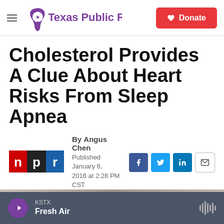Texas Public Radio — Donate
Cholesterol Provides A Clue About Heart Risks From Sleep Apnea
By Angus Chen
Published January 6, 2016 at 2:28 PM CST
[Figure (photo): Blurred photo of a person sleeping, partially visible from the waist up]
KSTX
Fresh Air